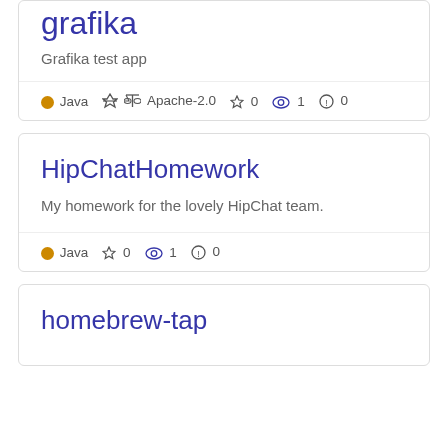grafika
Grafika test app
● Java ⚖ Apache-2.0 ☆ 0 👁 1 ⚠ 0
HipChatHomework
My homework for the lovely HipChat team.
● Java ☆ 0 👁 1 ⚠ 0
homebrew-tap